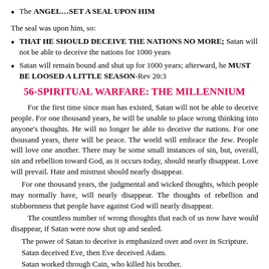The ANGEL…SET A SEAL UPON HIM
The seal was upon him, so:
THAT HE SHOULD DECEIVE THE NATIONS NO MORE; Satan will not be able to deceive the nations for 1000 years
Satan will remain bound and shut up for 1000 years; afterward, he MUST BE LOOSED A LITTLE SEASON-Rev 20:3
56-SPIRITUAL WARFARE: THE MILLENNIUM
For the first time since man has existed, Satan will not be able to deceive people. For one thousand years, he will be unable to place wrong thinking into anyone's thoughts. He will no longer be able to deceive the nations. For one thousand years, there will be peace. The world will embrace the Jew. People will love one another. There may be some small instances of sin, but, overall, sin and rebellion toward God, as it occurs today, should nearly disappear. Love will prevail. Hate and mistrust should nearly disappear.
For one thousand years, the judgmental and wicked thoughts, which people may normally have, will nearly disappear. The thoughts of rebellion and stubbornness that people have against God will nearly disappear.
The countless number of wrong thoughts that each of us now have would disappear, if Satan were now shut up and sealed.
The power of Satan to deceive is emphasized over and over in Scripture.
Satan deceived Eve, then Eve deceived Adam.
Satan worked through Cain, who killed his brother.